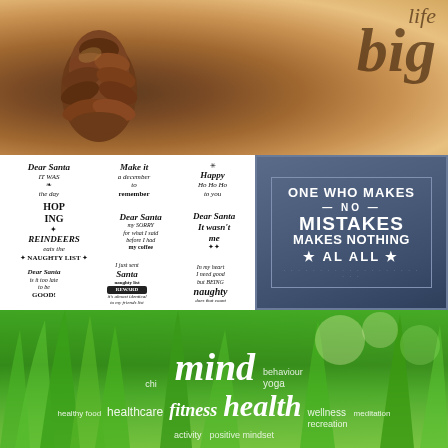[Figure (photo): Close-up photo of a pine cone on autumn leaves and pine needles with text 'life big' overlaid in brown italic serif font]
[Figure (illustration): Collection of Christmas-themed hand-lettered text stamps on white background including 'Dear Santa IT WAS the day', 'Make it a december to remember', 'Happy Ho Ho Ho to you', 'HOP ING REINDEERS eats the NAUGHTY LIST', 'Dear Santa my SORRY for what I said before I had my coffee', 'Dear Santa It wasn't me', 'I just sent Santa naughty list REWARD it's almost identical to my friends list', 'I need good and BEING naughty does that count']
[Figure (infographic): Dark blue square with motivational quote 'ONE WHO MAKES NO MISTAKES MAKES NOTHING AL ALL' with stars and dotted border]
[Figure (photo): Green grass background with word cloud overlay including: mind, health, fitness, chi, healthcare, healthy food, activity, wellness, behaviour, yoga, recreation, meditation, positive mindset]